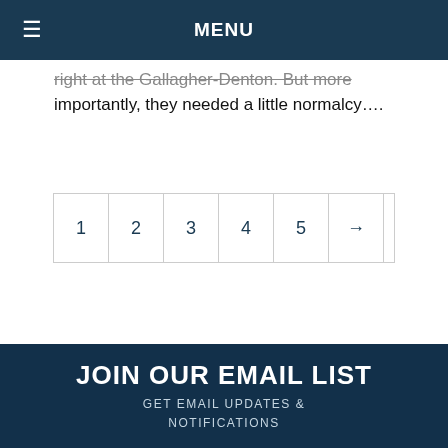MENU
right at the Gallagher-Denton. But more importantly, they needed a little normalcy….
1 2 3 4 5 →
JOIN OUR EMAIL LIST
GET EMAIL UPDATES & NOTIFICATIONS